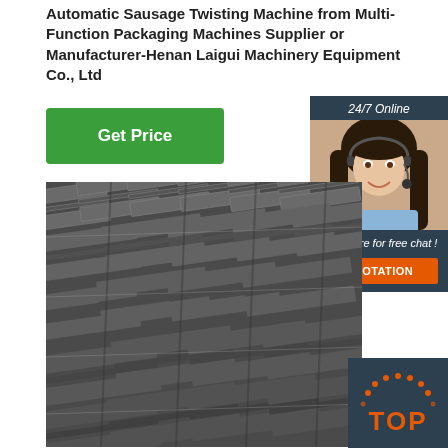Automatic Sausage Twisting Machine from Multi-Function Packaging Machines Supplier or Manufacturer-Henan Laigui Machinery Equipment Co., Ltd
[Figure (illustration): Green 'Get Price' button]
[Figure (illustration): Chat widget with '24/7 Online', agent photo, 'Click here for free chat!', and orange 'QUOTATION' button]
[Figure (photo): Close-up photo of stacked steel I-beams or channel beams, dark metal, industrial setting]
[Figure (illustration): Orange and dark 'TOP' button with dotted arc above text]